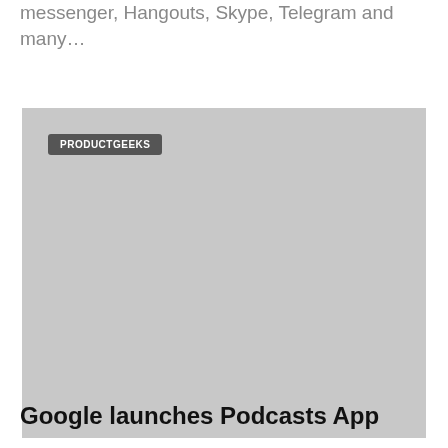messenger, Hangouts, Skype, Telegram and many…
[Figure (photo): A grey placeholder image with a 'PRODUCTGEEKS' badge label in the upper left corner.]
Google launches Podcasts App